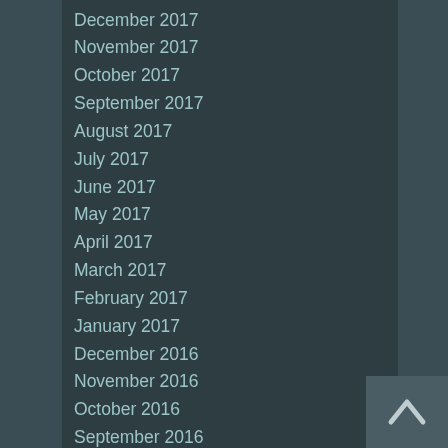December 2017
November 2017
October 2017
September 2017
August 2017
July 2017
June 2017
May 2017
April 2017
March 2017
February 2017
January 2017
December 2016
November 2016
October 2016
September 2016
August 2016
July 2016
June 2016
May 2016
April 2016
March 2016
February 2016